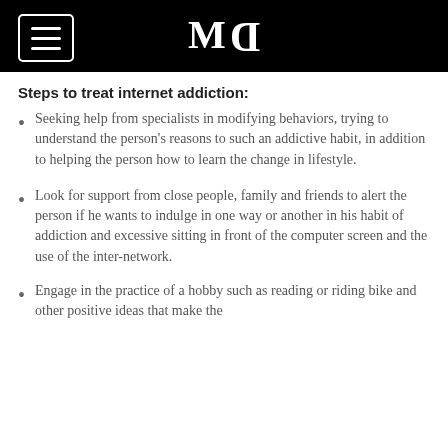MQ
Steps to treat internet addiction:
Seeking help from specialists in modifying behaviors, trying to understand the person's reasons to such an addictive habit, in addition to helping the person how to learn the change in lifestyle.
Look for support from close people, family and friends to alert the person if he wants to indulge in one way or another in his habit of addiction and excessive sitting in front of the computer screen and the use of the inter-network.
Engage in the practice of a hobby such as reading or riding bike and other positive ideas that make the